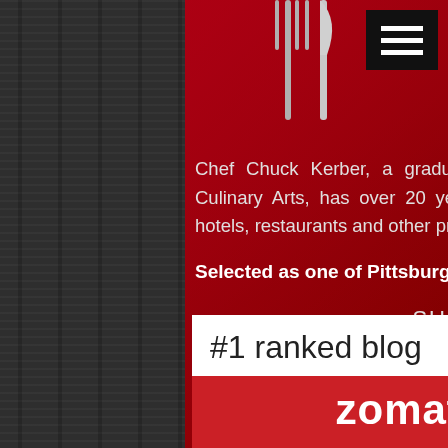[Figure (screenshot): Navigation menu hamburger button (three white lines on black background) in top right corner]
[Figure (photo): Silver cutlery (fork and knife) against red background at the top center of the panel]
Chef Chuck Kerber, a graduate of The Pennsylvania Institute of Culinary Arts, has over 20 years of cooking experience at various hotels, restaurants and other private establishments.
Selected as one of Pittsburgh's 50 finest in 2012
SUBSCRIBE
Enter email address...
#1 ranked blog
zomato